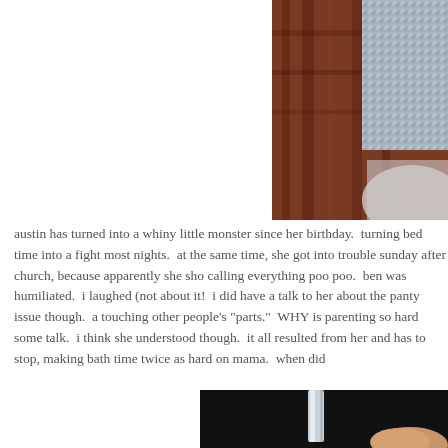[Figure (photo): Partial photo showing a sparkly/sequined outfit or fabric with dark wooden background, upper right portion of page]
austin has turned into a whiny little monster since her birthday.  turning bed time into a fight most nights.  at the same time, she got into trouble sunday after church, because apparently she sho calling everything poo poo.  ben was humiliated.  i laughed (not about it!  i did have a talk to her about the panty issue though.  a touching other people's "parts."  WHY is parenting so hard some talk.  i think she understood though.  it all resulted from her and has to stop, making bath time twice as hard on mama.  when did
[Figure (photo): Dark photo showing what appears to be a glass or cylindrical object being held by a hand, bottom right portion of page]